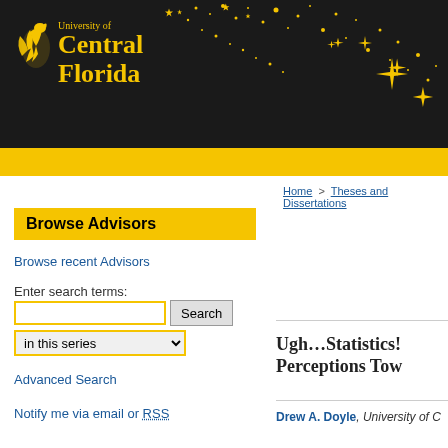[Figure (logo): University of Central Florida logo and header banner with black background, gold UCF Pegasus icon, gold text reading 'University of Central Florida', and scattered gold star/sparkle decorations across the upper right area]
Home > Theses and Dissertations
Browse Advisors
Browse recent Advisors
Enter search terms:
in this series
Advanced Search
Notify me via email or RSS
Ugh…Statistics! Perceptions Tow
Drew A. Doyle, University of C